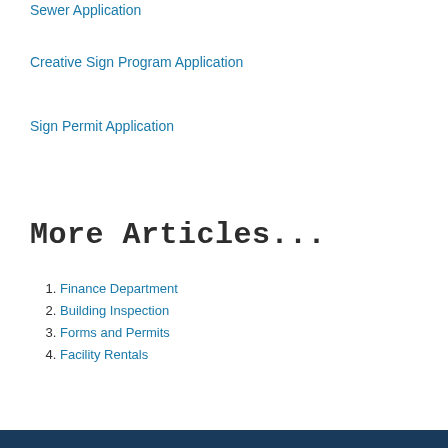Sewer Application
Creative Sign Program Application
Sign Permit Application
More Articles...
1. Finance Department
2. Building Inspection
3. Forms and Permits
4. Facility Rentals